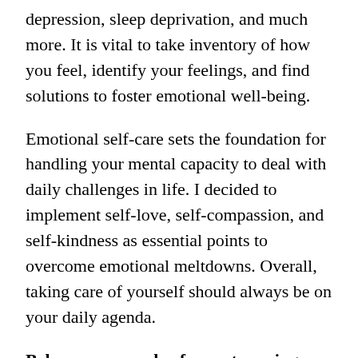…depression, sleep deprivation, and much more. It is vital to take inventory of how you feel, identify your feelings, and find solutions to foster emotional well-being.
Emotional self-care sets the foundation for handling your mental capacity to deal with daily challenges in life. I decided to implement self-love, self-compassion, and self-kindness as essential points to overcome emotional meltdowns. Overall, taking care of yourself should always be on your daily agenda.
Below are a couple of ways to spring clean your emotions to relinquish the unhealthy emotional roller coasters in your life.
Identify how you feel. When you are honest about how you feel you will be able to work